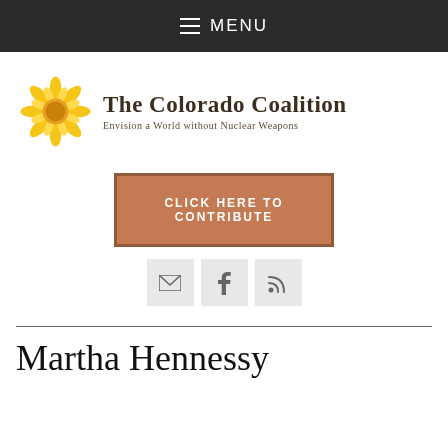MENU
[Figure (logo): The Colorado Coalition logo: golden sunflower graphic with text 'The Colorado Coalition' and subtitle 'Envision a World without Nuclear Weapons']
CLICK HERE TO CONTRIBUTE
[Figure (infographic): Three social media icon buttons: email (envelope), Facebook (f), RSS feed]
Martha Hennessy